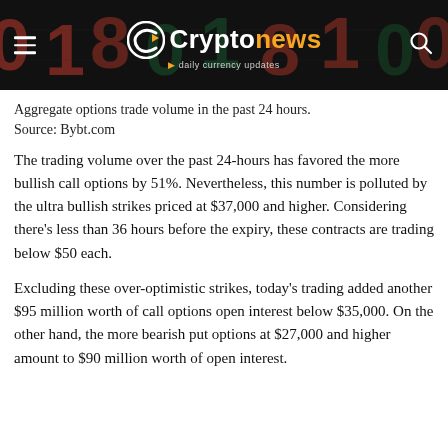Cryptonews · daily currency updates
Aggregate options trade volume in the past 24 hours. Source: Bybt.com
The trading volume over the past 24-hours has favored the more bullish call options by 51%. Nevertheless, this number is polluted by the ultra bullish strikes priced at $37,000 and higher. Considering there's less than 36 hours before the expiry, these contracts are trading below $50 each.
Excluding these over-optimistic strikes, today's trading added another $95 million worth of call options open interest below $35,000. On the other hand, the more bearish put options at $27,000 and higher amount to $90 million worth of open interest.